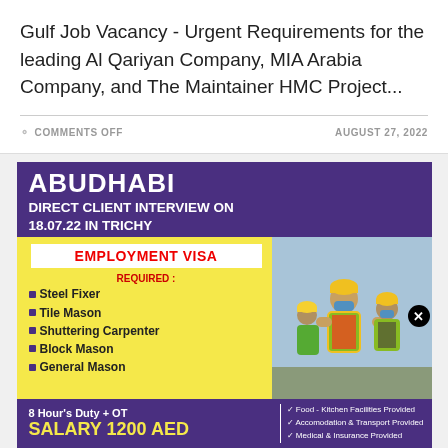Gulf Job Vacancy - Urgent Requirements for the leading Al Qariyan Company, MIA Arabia Company, and The Maintainer HMC Project...
COMMENTS OFF   AUGUST 27, 2022
[Figure (infographic): Abu Dhabi job vacancy advertisement. Dark purple background with yellow section. Text: ABUDHABI, DIRECT CLIENT INTERVIEW ON 18.07.22 IN TRICHY, EMPLOYMENT VISA, REQUIRED: Steel Fixer, Tile Mason, Shuttering Carpenter, Block Mason, General Mason. 8 Hour's Duty + OT, SALARY 1200 AED. Benefits: Food - Kitchen Facilities Provided, Accomodation & Transport Provided, Medical & Insurance Provided. Photo of construction workers in safety gear on right side.]